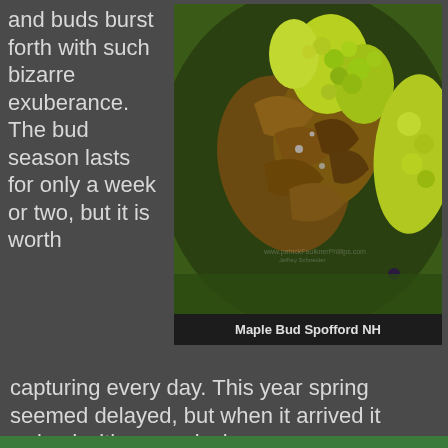and buds burst forth with such bizarre exuberance.  The bud season lasts for only a week or two, but it is worth capturing every day.  This year spring seemed delayed, but when it arrived it arrived with an explosion.
[Figure (photo): Close-up macro photograph of a maple bud in Spofford NH, showing detailed green and brown bud scales with bright yellow-green emerging growth against a dark green background]
Maple Bud Spofford NH